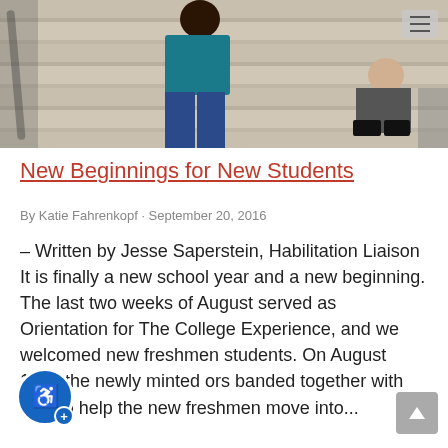[Figure (photo): Students sitting on stone steps outside a building. One student in a blue patterned shirt is visible in the center, with others partially visible.]
New Beginnings for New Students
By Katie Fahrenkopf · September 20, 2016
– Written by Jesse Saperstein, Habilitation Liaison It is finally a new school year and a new beginning. The last two weeks of August served as Orientation for The College Experience, and we welcomed new freshmen students. On August 15th, the newly minted ors banded together with staff to help the new freshmen move into...